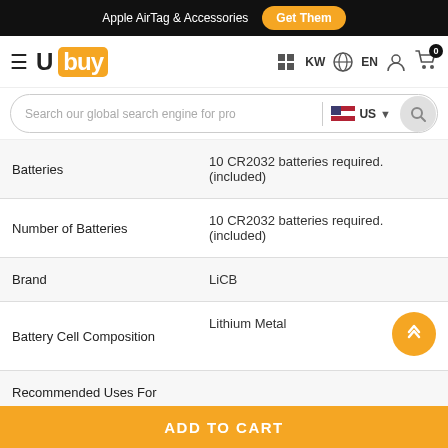Apple AirTag & Accessories  Get Them
[Figure (logo): Ubuy logo with hamburger menu, KW flag, EN language selector, user icon, cart icon with badge 0]
Search our global search engine for pro  US
| Attribute | Value |
| --- | --- |
| Batteries | 10 CR2032 batteries required. (included) |
| Number of Batteries | 10 CR2032 batteries required. (included) |
| Brand | LiCB |
| Battery Cell Composition | Lithium Metal |
| Recommended Uses For |  |
ADD TO CART